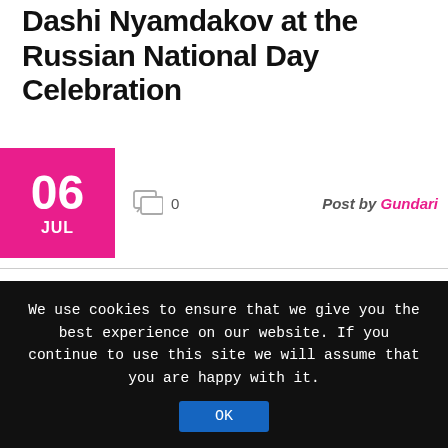Dashi Nyamdakov at the Russian National Day Celebration
06 JUL   0   Post by Gundari
Enke Danzanbaljir is an enthusiastic International banker with 27 years work experience including with multinational financial institutions such as WB, ADB and IIB. She is former Deputy Governor of the Central Bank of Mongolia, Chairman of the Auditing Committee of the International Investment Bank, Commissioner of the Securities and Exchange Commission, Chairman of the National Board of
We use cookies to ensure that we give you the best experience on our website. If you continue to use this site we will assume that you are happy with it.